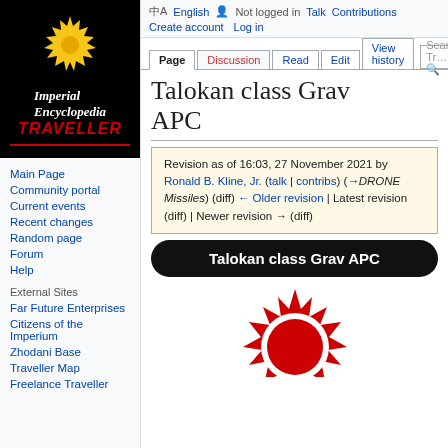[Figure (logo): Imperial Encyclopedia Traveller logo: black background with yellow sun icon, italic serif text 'Imperial Encyclopedia' in white, 'TRAVELLER' in red bold italic below with red underline]
Main Page
Community portal
Current events
Recent changes
Random page
Forum
Help
External Sites
Far Future Enterprises
Citizens of the Imperium
Zhodani Base
Traveller Map
Freelance Traveller
🌐 English  👤 Not logged in  Talk  Contributions  Create account  Log in
Talokan class Grav APC
Revision as of 16:03, 27 November 2021 by Ronald B. Kline, Jr. (talk | contribs) (→DRONE Missiles) (diff) ← Older revision | Latest revision (diff) | Newer revision → (diff)
Talokan class Grav APC
[Figure (logo): Red sun/star emblem with white ring — partial view, cropped at bottom]